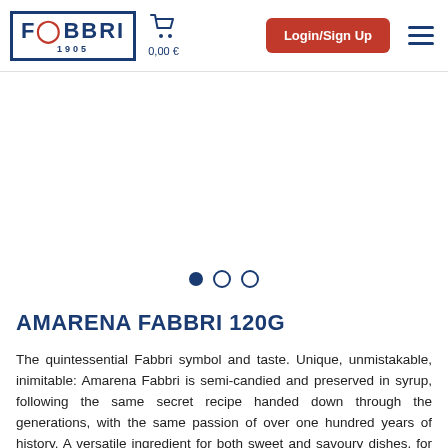FABBRI 1905 | Cart 0,00 € | Login/Sign Up | Menu
[Figure (other): Product image slideshow area (blank/white) with three navigation dots: one filled (active) and two empty circles]
AMARENA FABBRI 120G
The quintessential Fabbri symbol and taste. Unique, unmistakable, inimitable: Amarena Fabbri is semi-candied and preserved in syrup, following the same secret recipe handed down through the generations, with the same passion of over one hundred years of history. A versatile ingredient for both sweet and savoury dishes, for garnishing drinks, or simply for